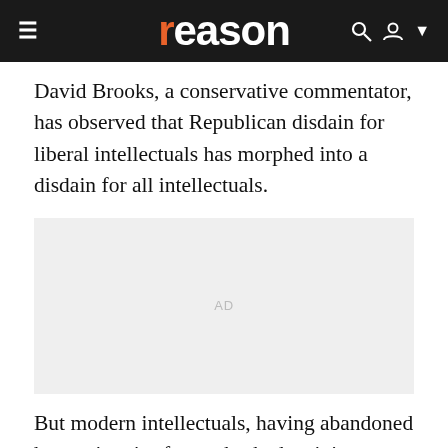reason
David Brooks, a conservative commentator, has observed that Republican disdain for liberal intellectuals has morphed into a disdain for all intellectuals.
[Figure (other): Advertisement placeholder box with 'AD' label in light gray]
But modern intellectuals, having abandoned honest inquiry for unabashed activism, must themselves bear some blame for the backlash.